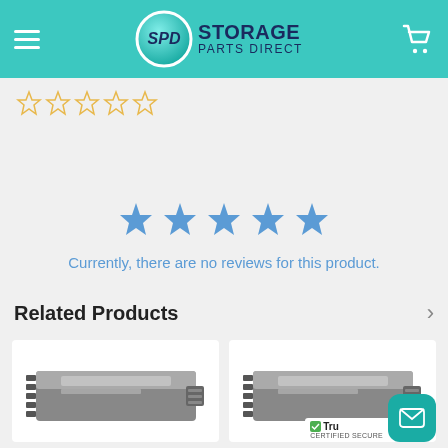[Figure (logo): SPD Storage Parts Direct logo with teal circle and dark blue text]
[Figure (illustration): Five empty gold star rating icons]
[Figure (illustration): Five blue filled star icons centered on page]
Currently, there are no reviews for this product.
Related Products
[Figure (photo): Server hard drive with tray - product card 1]
[Figure (photo): Server hard drive with tray - product card 2, with Trustwave certified secure badge and teal mail button overlay]